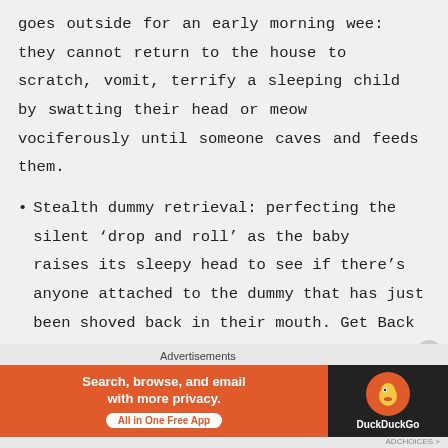goes outside for an early morning wee: they cannot return to the house to scratch, vomit, terrify a sleeping child by swatting their head or meow vociferously until someone caves and feeds them.
Stealth dummy retrieval: perfecting the silent ‘drop and roll’ as the baby raises its sleepy head to see if there’s anyone attached to the dummy that has just been shoved back in their mouth. Get Back
Advertisements
[Figure (screenshot): DuckDuckGo advertisement banner: orange background on left with text 'Search, browse, and email with more privacy. All in One Free App', dark background on right with DuckDuckGo logo and brand name.]